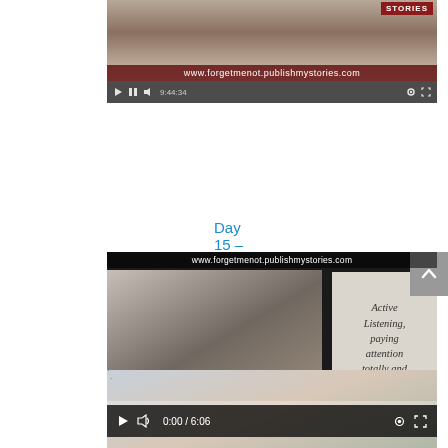[Figure (screenshot): Video thumbnail showing top portion of a video player. URL bar reads www.forgetmenot.publishmystories.com. Top right shows 'STORIES' badge in dark red. Video controls visible at bottom.]
Day 15 – Hour of Power
[Figure (screenshot): Video player screenshot showing a woman with glasses and brown hair speaking to camera. URL bar at top reads www.forgetmenot.publishmystories.com. Text overlay on right side reads 'Active Listening, paying attention totally and 100%...' Video controls at bottom show 0:00 / 6:06.]
Day 4 – Listening
[Figure (screenshot): Partial video thumbnail showing a woman outdoors, partially cropped at bottom of page.]